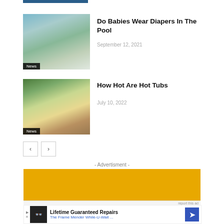[Figure (photo): Partial cropped image at top of page, appears to be a blue/dark toned image]
[Figure (photo): Baby sitting in a pool splashing water, with grass and pool fence in background. News badge overlay.]
Do Babies Wear Diapers In The Pool
September 12, 2021
[Figure (photo): People sitting in a round outdoor hot tub surrounded by wooden panels and greenery. News badge overlay.]
How Hot Are Hot Tubs
July 10, 2022
- Advertisment -
[Figure (photo): Costa Farms advertisement banner: Grow Beyond the Classroom. Yellow/orange background with plants and Costa Farms logo.]
[Figure (photo): The Frame Mender While-U-Wait advertisement banner. Lifetime Guaranteed Repairs. Black and white with blue arrow icon.]